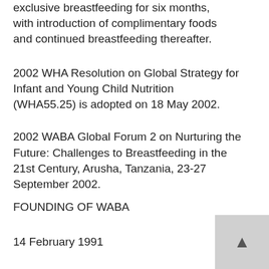exclusive breastfeeding for six months, with introduction of complimentary foods and continued breastfeeding thereafter.
2002 WHA Resolution on Global Strategy for Infant and Young Child Nutrition (WHA55.25) is adopted on 18 May 2002.
2002 WABA Global Forum 2 on Nurturing the Future: Challenges to Breastfeeding in the 21st Century, Arusha, Tanzania, 23-27 September 2002.
FOUNDING OF WABA
14 February 1991